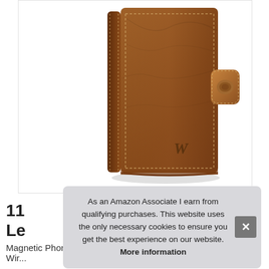[Figure (photo): Brown leather phone wallet case with stitching detail and magnetic clasp, showing the 'W' brand logo embossed on the front, photographed on white background.]
As an Amazon Associate I earn from qualifying purchases. This website uses the only necessary cookies to ensure you get the best experience on our website. More information
11 Le
Magnetic Phone Case and Wireless...